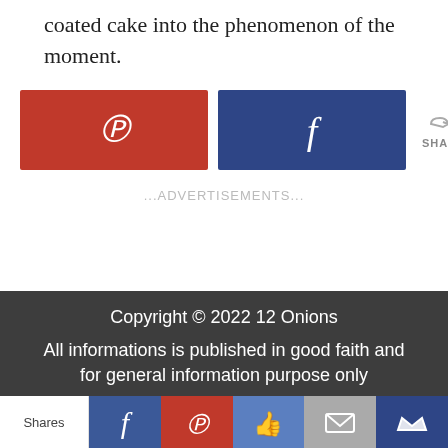coated cake into the phenomenon of the moment.
[Figure (infographic): Social share buttons: Pinterest (red) and Facebook (dark blue), with a share count showing 0 SHARES]
...ADVERTISEMENTS...
Copyright © 2022 12 Onions
All informations is published in good faith and for general information purpose only
Shares | Facebook | Pinterest | Like | Mail | Crown